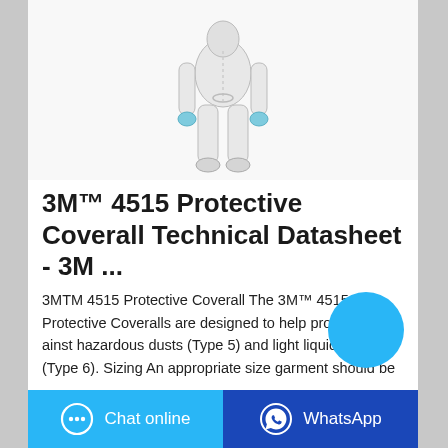[Figure (photo): A person wearing a white full-body protective coverall with blue gloves and boot covers, standing front-facing with arms slightly out.]
3M™ 4515 Protective Coverall Technical Datasheet - 3M ...
3MTM 4515 Protective Coverall The 3M™ 4515 Protective Coveralls are designed to help protect against hazardous dusts (Type 5) and light liquid splashes (Type 6). Sizing An appropriate size garment should be